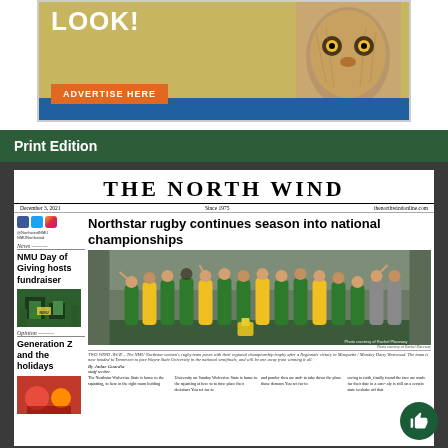[Figure (photo): Advertisement banner with owl image, LOOK! text, ADVERTISE HERE button on orange background, blue bottom bar]
Print Edition
[Figure (photo): The North Wind newspaper front page showing Northstar rugby team celebrating with championship trophy, team photo in green and gold jerseys]
THE NORTH WIND
December 3, 2021   Since 1975   thenorthwindonline.com
Northstar rugby continues season into national championships
Photo courtesy of Rachel Placeway
TWO WIND AWAY – The NMU Northstar women's rugby team poses with their regional championship trophy after a Regionals victory in Marquette / Monday. Daisy Westwood. The team is now headed to Tennessee to face Wayne State University in the national semifinals, and will be one away from winning it all.
News
NMU Day of Giving hosts fundraiser
Opinion
Generation Z and the holidays